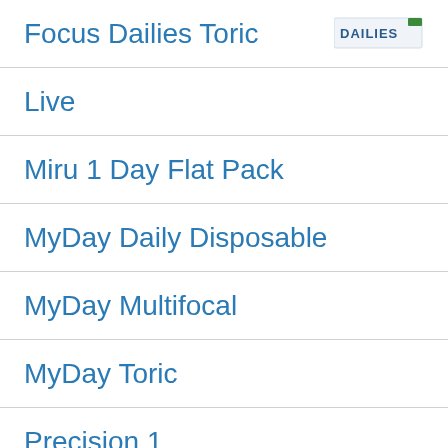Focus Dailies Toric
Live
Miru 1 Day Flat Pack
MyDay Daily Disposable
MyDay Multifocal
MyDay Toric
Precision 1